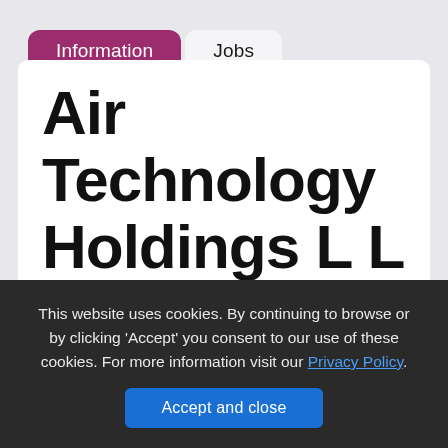Information | Jobs
Air Technology Holdings L L C NOW HIRING 2021
Hiring Jobs Near Me
This website uses cookies. By continuing to browse or by clicking 'Accept' you consent to our use of these cookies. For more information visit our Privacy Policy.
Accept and close